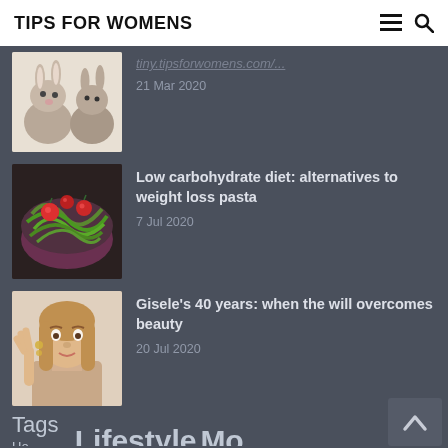TIPS FOR WOMENS
[Figure (photo): Two rabbits (bunnies), light brown/grey, sitting together on white background]
21 Mar 2020
[Figure (photo): Green pasta (zucchini noodles/zoodles) with red cherry tomatoes in a dark bowl]
Low carbohydrate diet: alternatives to weight loss pasta
7 Jul 2020
[Figure (photo): Young woman with long blonde hair making a gesture, wearing jewelry]
Gisele's 40 years: when the will overcomes beauty
20 Jul 2020
Tags
Accessories  App & Technology  Beauty  Better Life  Celebrity  Diets  Fashion  Fitness  Health  Home  Lifestyle  More